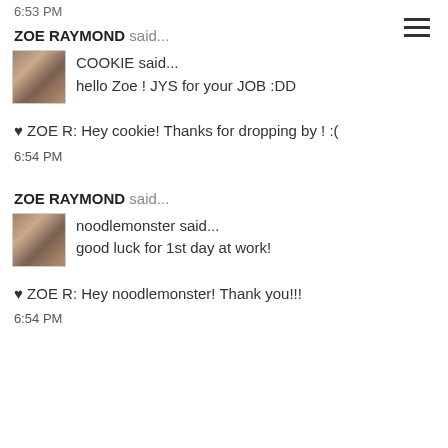6:53 PM
ZOE RAYMOND said...
COOKIE said...
hello Zoe ! JYS for your JOB :DD
♥ ZOE R: Hey cookie! Thanks for dropping by ! :(
6:54 PM
ZOE RAYMOND said...
noodlemonster said...
good luck for 1st day at work!
♥ ZOE R: Hey noodlemonster! Thank you!!!
6:54 PM